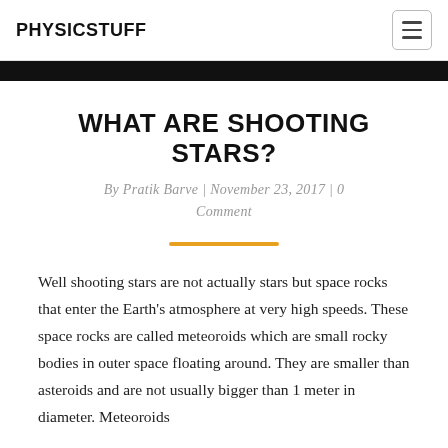PHYSICSTUFF
WHAT ARE SHOOTING STARS?
By Pratik Barve | November 23, 2017 | 0 Comment
Well shooting stars are not actually stars but space rocks that enter the Earth's atmosphere at very high speeds. These space rocks are called meteoroids which are small rocky bodies in outer space floating around. They are smaller than asteroids and are not usually bigger than 1 meter in diameter. Meteoroids